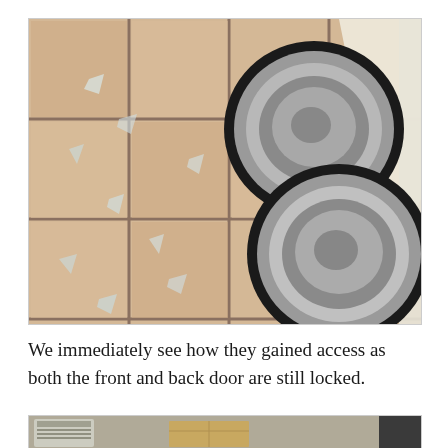[Figure (photo): Overhead view of a tiled floor with two empty stainless steel dog bowls with black rubber rims. The floor has scattered broken glass or debris on the beige/tan ceramic tiles.]
We immediately see how they gained access as both the front and back door are still locked.
[Figure (photo): Partial view of a room interior showing what appears to be electronics or equipment and a cardboard box, partially visible at the bottom of the page.]